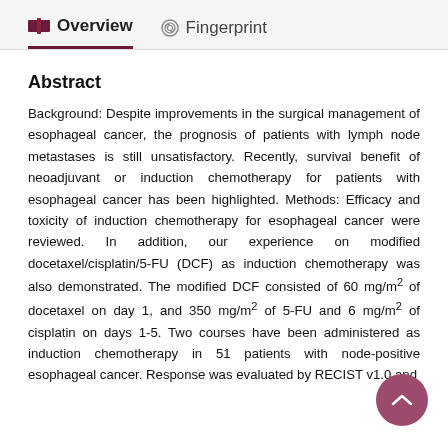Overview   Fingerprint
Abstract
Background: Despite improvements in the surgical management of esophageal cancer, the prognosis of patients with lymph node metastases is still unsatisfactory. Recently, survival benefit of neoadjuvant or induction chemotherapy for patients with esophageal cancer has been highlighted. Methods: Efficacy and toxicity of induction chemotherapy for esophageal cancer were reviewed. In addition, our experience on modified docetaxel/cisplatin/5-FU (DCF) as induction chemotherapy was also demonstrated. The modified DCF consisted of 60 mg/m² of docetaxel on day 1, and 350 mg/m² of 5-FU and 6 mg/m² of cisplatin on days 1-5. Two courses have been administered as induction chemotherapy in 51 patients with node-positive esophageal cancer. Response was evaluated by RECIST v1.0 and